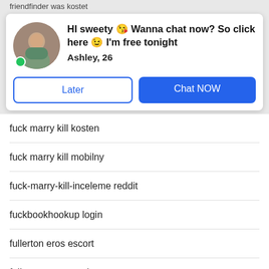friendfinder was kostet
[Figure (screenshot): Chat popup with profile photo of a woman, message 'HI sweety 😘 Wanna chat now? So click here 😉 I'm free tonight', name 'Ashley, 26', green online dot, and two buttons: 'Later' and 'Chat NOW']
fuck marry kill kosten
fuck marry kill mobilny
fuck-marry-kill-inceleme reddit
fuckbookhookup login
fullerton eros escort
fullerton escort radar
furfling gratis